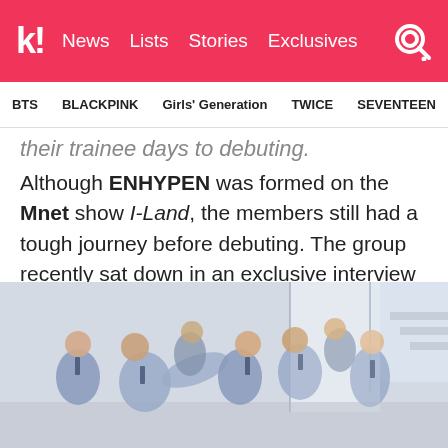k! News Lists Stories Exclusives
BTS BLACKPINK Girls' Generation TWICE SEVENTEEN
their trainee days to debuting.
Although ENHYPEN was formed on the Mnet show I-Land, the members still had a tough journey before debuting. The group recently sat down in an exclusive interview with Vogue and discussed the biggest challenges in their career so far.
[Figure (photo): Group photo of ENHYPEN members in light blue school uniform outfits posing in what appears to be a dance studio or school hallway setting.]